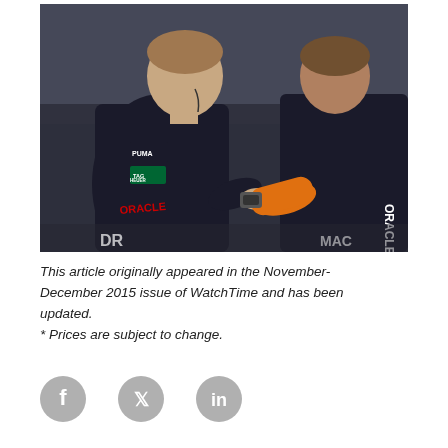[Figure (photo): Two people wearing black Oracle Team USA sailing suits with Puma and TAG Heuer logos. One person is looking down at the other's wrist/arm which has an orange sleeve/cast. They appear to be outdoors at a sailing event.]
This article originally appeared in the November-December 2015 issue of WatchTime and has been updated.
* Prices are subject to change.